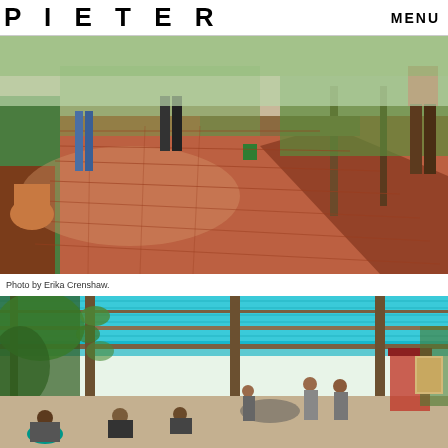PIETER   MENU
[Figure (photo): Outdoor event on a brick patio with people standing. Red brick herringbone paving, plants, shade structure in background. Long shadows visible. Person in red shorts on right.]
Photo by Erika Crenshaw.
[Figure (photo): Group of people sitting under a teal green shade structure/pergola with climbing vines. Outdoor daytime gathering in a garden setting.]